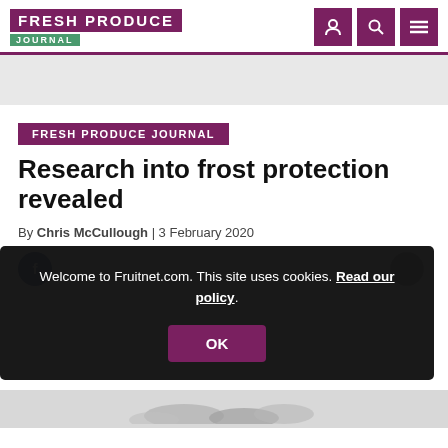FRESH PRODUCE JOURNAL
FRESH PRODUCE JOURNAL
Research into frost protection revealed
By Chris McCullough | 3 February 2020
Welcome to Fruitnet.com. This site uses cookies. Read our policy.
[Figure (other): Partial image of produce visible at bottom of page]